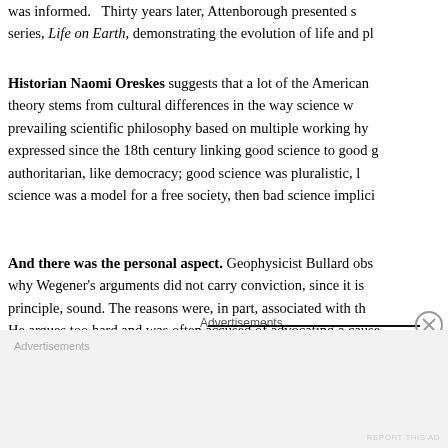was informed. Thirty years later, Attenborough presented series, Life on Earth, demonstrating the evolution of life and pl...
Historian Naomi Oreskes suggests that a lot of the American theory stems from cultural differences in the way science w... prevailing scientific philosophy based on multiple working hy... expressed since the 18th century linking good science to good g... authoritarian, like democracy; good science was pluralistic, l... science was a model for a free society, then bad science implici...
And there was the personal aspect. Geophysicist Bullard obs... why Wegener's arguments did not carry conviction, since it is ... principle, sound. The reasons were, in part, associated with th... He argues too hard and was often accused of advocating a cause...